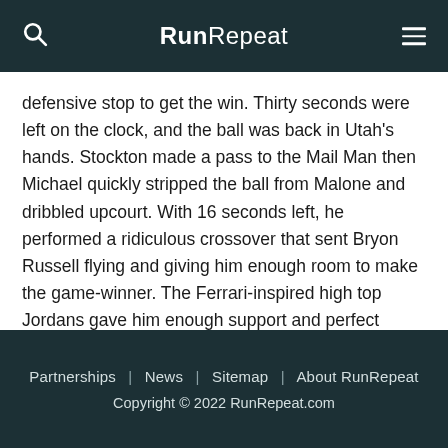RunRepeat
defensive stop to get the win. Thirty seconds were left on the clock, and the ball was back in Utah's hands. Stockton made a pass to the Mail Man then Michael quickly stripped the ball from Malone and dribbled upcourt. With 16 seconds left, he performed a ridiculous crossover that sent Bryon Russell flying and giving him enough room to make the game-winner. The Ferrari-inspired high top Jordans gave him enough support and perfect traction while his defender slipped and fell. He finished the game with 45 points, a sixth NBA championship, and a second three-peat.
Partnerships | News | Sitemap | About RunRepeat
Copyright © 2022 RunRepeat.com